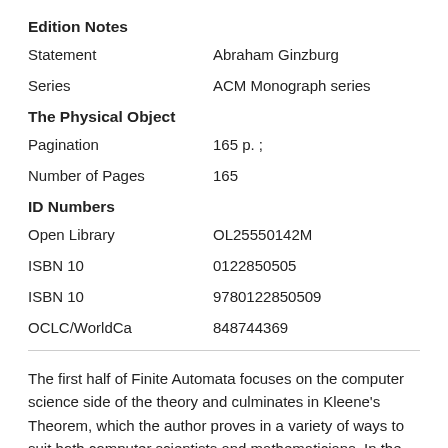Edition Notes
| Field | Value |
| --- | --- |
| Statement | Abraham Ginzburg |
| Series | ACM Monograph series |
The Physical Object
| Field | Value |
| --- | --- |
| Pagination | 165 p. ; |
| Number of Pages | 165 |
ID Numbers
| Field | Value |
| --- | --- |
| Open Library | OL25550142M |
| ISBN 10 | 0122850505 |
| ISBN 10 | 9780122850509 |
| OCLC/WorldCa | 848744369 |
The first half of Finite Automata focuses on the computer science side of the theory and culminates in Kleene's Theorem, which the author proves in a variety of ways to suit both computer scientists and mathematicians. In the second half, the focus shifts to the mathematical side of the theory and constructing an algebraic approach to languages.